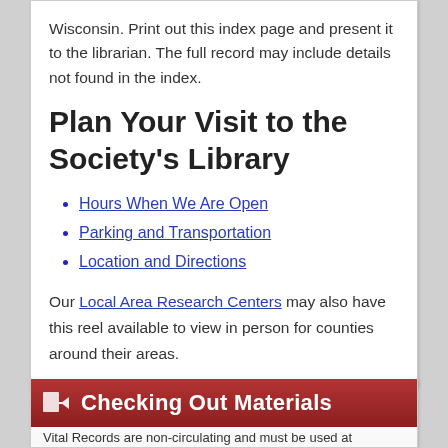Wisconsin. Print out this index page and present it to the librarian. The full record may include details not found in the index.
Plan Your Visit to the Society's Library
Hours When We Are Open
Parking and Transportation
Location and Directions
Our Local Area Research Centers may also have this reel available to view in person for counties around their areas.
Checking Out Materials
Vital Records are non-circulating and must be used at